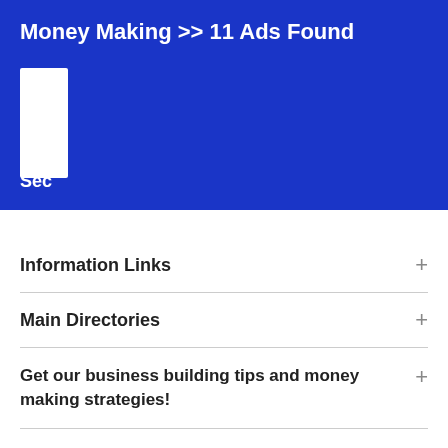Money Making >> 11 Ads Found
[Figure (other): White rectangular placeholder box on blue background]
Sec
Information Links
Main Directories
Get our business building tips and money making strategies!
Terms and conditions  |  Privacy  |
© 2022 AnthonyPSlate.com